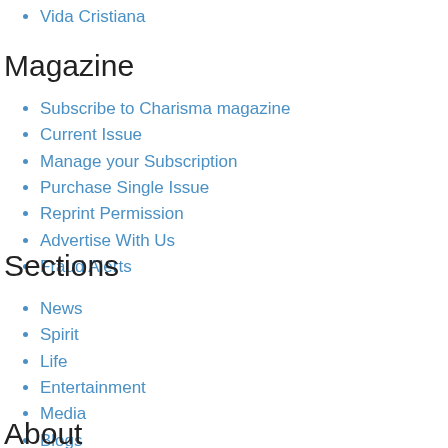Vida Cristiana
Magazine
Subscribe to Charisma magazine
Current Issue
Manage your Subscription
Purchase Single Issue
Reprint Permission
Advertise With Us
Fraud Alerts
Sections
News
Spirit
Life
Entertainment
Media
Blogs
Newsletters
About